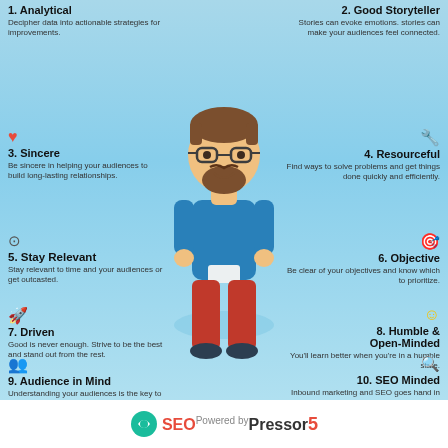1. Analytical
Decipher data into actionable strategies for improvements.
2. Good Storyteller
Stories can evoke emotions. stories can make your audiences feel connected.
3. Sincere
Be sincere in helping your audiences to build long-lasting relationships.
4. Resourceful
Find ways to solve problems and get things done quickly and efficiently.
5. Stay Relevant
Stay relevant to time and your audiences or get outcasted.
6. Objective
Be clear of your objectives and know which to prioritize.
7. Driven
Good is never enough. Strive to be the best and stand out from the rest.
8. Humble & Open-Minded
You'll learn better when you're in a humble state.
9. Audience in Mind
Understanding your audiences is the key to creating a successful marketing campaign.
10. SEO Minded
Inbound marketing and SEO goes hand in hand. It's a must have skill.
[Figure (illustration): Cartoon illustration of a bearded hipster man with glasses, wearing a blue sweater and red pants, standing in the center of the infographic]
SEOPressor 5